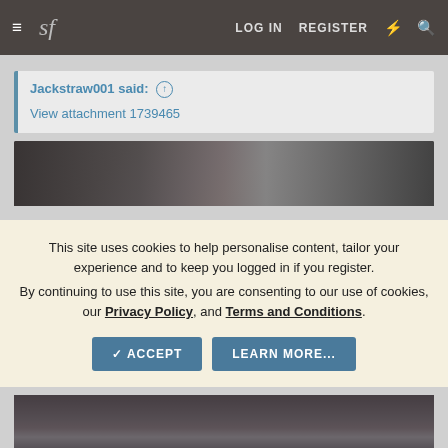sf  LOG IN  REGISTER
Jackstraw001 said: ↑
View attachment 1739465
[Figure (photo): Black and white photograph showing what appears to be a figure or object, upper portion visible above cookie consent overlay]
This site uses cookies to help personalise content, tailor your experience and to keep you logged in if you register. By continuing to use this site, you are consenting to our use of cookies, our Privacy Policy, and Terms and Conditions.
✓ ACCEPT   LEARN MORE...
[Figure (photo): Black and white photograph lower portion, showing decorative figures or objects]
(Not woke)